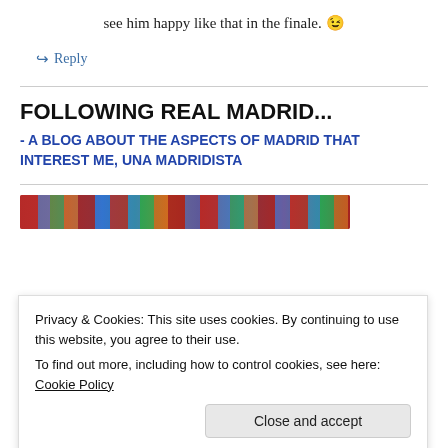see him happy like that in the finale. 😉
↪ Reply
FOLLOWING REAL MADRID...
- A BLOG ABOUT THE ASPECTS OF MADRID THAT INTEREST ME, UNA MADRIDISTA
[Figure (photo): Colorful image strip showing festive decorations or items in red, blue, green, orange tones]
Privacy & Cookies: This site uses cookies. By continuing to use this website, you agree to their use.
To find out more, including how to control cookies, see here: Cookie Policy
Close and accept
[Figure (photo): Colorful image strip at bottom with festive items in red, orange, blue, green tones]